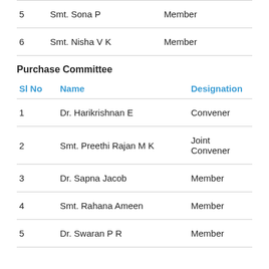| Sl No | Name | Designation |
| --- | --- | --- |
| 5 | Smt. Sona P | Member |
| 6 | Smt. Nisha V K | Member |
Purchase Committee
| Sl No | Name | Designation |
| --- | --- | --- |
| 1 | Dr. Harikrishnan E | Convener |
| 2 | Smt. Preethi Rajan M K | Joint Convener |
| 3 | Dr. Sapna Jacob | Member |
| 4 | Smt. Rahana Ameen | Member |
| 5 | Dr. Swaran P R | Member |